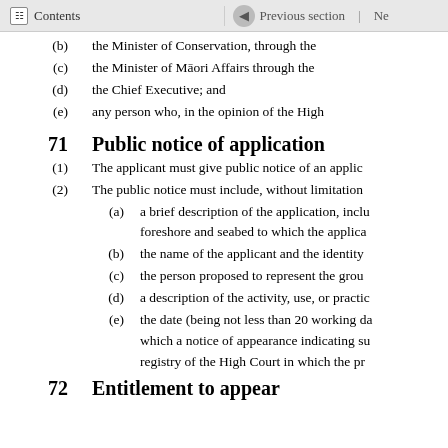Contents | Previous section | Ne
(b) the Minister of Conservation, through the
(c) the Minister of Māori Affairs through the
(d) the Chief Executive; and
(e) any person who, in the opinion of the High
71 Public notice of application
(1) The applicant must give public notice of an applic
(2) The public notice must include, without limitation
(a) a brief description of the application, inclu foreshore and seabed to which the applica
(b) the name of the applicant and the identity
(c) the person proposed to represent the grou
(d) a description of the activity, use, or practi
(e) the date (being not less than 20 working da which a notice of appearance indicating su registry of the High Court in which the pr
72 Entitlement to appear